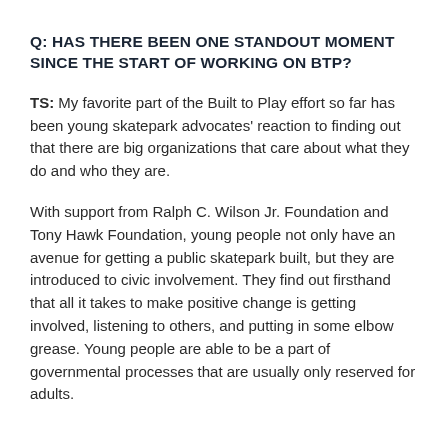Q: HAS THERE BEEN ONE STANDOUT MOMENT SINCE THE START OF WORKING ON BTP?
TS: My favorite part of the Built to Play effort so far has been young skatepark advocates' reaction to finding out that there are big organizations that care about what they do and who they are.
With support from Ralph C. Wilson Jr. Foundation and Tony Hawk Foundation, young people not only have an avenue for getting a public skatepark built, but they are introduced to civic involvement. They find out firsthand that all it takes to make positive change is getting involved, listening to others, and putting in some elbow grease. Young people are able to be a part of governmental processes that are usually only reserved for adults.